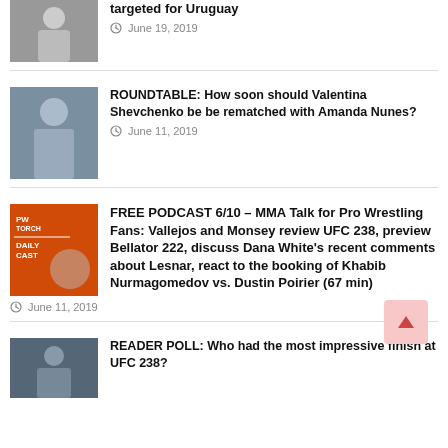[Figure (photo): UFC fighter photo top left, partially visible]
targeted for Uruguay
June 19, 2019
[Figure (photo): Valentina Shevchenko celebrating, UFC event]
ROUNDTABLE: How soon should Valentina Shevchenko be be rematched with Amanda Nunes?
June 11, 2019
[Figure (photo): PW Torch Daily Cast podcast thumbnail]
FREE PODCAST 6/10 – MMA Talk for Pro Wrestling Fans: Vallejos and Monsey review UFC 238, preview Bellator 222, discuss Dana White's recent comments about Lesnar, react to the booking of Khabib Nurmagomedov vs. Dustin Poirier (67 min)
June 11, 2019
[Figure (photo): UFC fighter photo, bottom article]
READER POLL: Who had the most impressive finish at UFC 238?